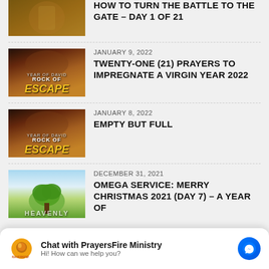[Figure (photo): Partial thumbnail of battle/warrior scene]
HOW TO TURN THE BATTLE TO THE GATE – DAY 1 OF 21
[Figure (photo): Rock of Escape – Year of David thumbnail]
JANUARY 9, 2022
TWENTY-ONE (21) PRAYERS TO IMPREGNATE A VIRGIN YEAR 2022
[Figure (photo): Rock of Escape – Year of David thumbnail]
JANUARY 8, 2022
EMPTY BUT FULL
[Figure (photo): Heavenly tree/nature scene thumbnail]
DECEMBER 31, 2021
OMEGA SERVICE: MERRY CHRISTMAS 2021 (DAY 7) – A YEAR OF
Chat with PrayersFire Ministry
Hi! How can we help you?
DECEMBER 29, 2021